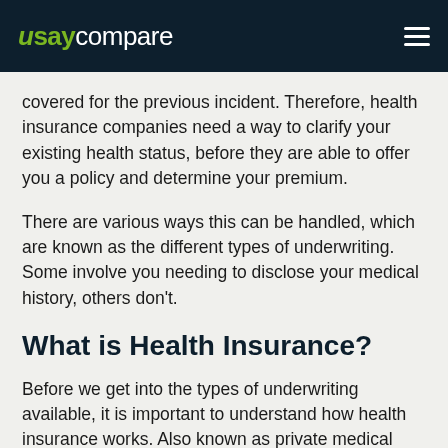usaycompare
covered for the previous incident. Therefore, health insurance companies need a way to clarify your existing health status, before they are able to offer you a policy and determine your premium.
There are various ways this can be handled, which are known as the different types of underwriting. Some involve you needing to disclose your medical history, others don't.
What is Health Insurance?
Before we get into the types of underwriting available, it is important to understand how health insurance works. Also known as private medical insurance, or PMI, health insurance is an insurance